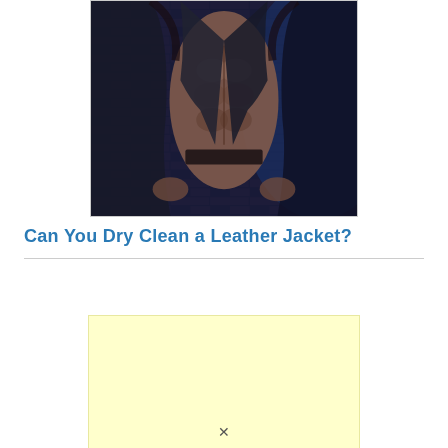[Figure (photo): A muscular man in an open black leather jacket, shirtless, with a dark brick wall background and blue lighting tones.]
Can You Dry Clean a Leather Jacket?
[Figure (other): Advertisement placeholder block with light yellow background.]